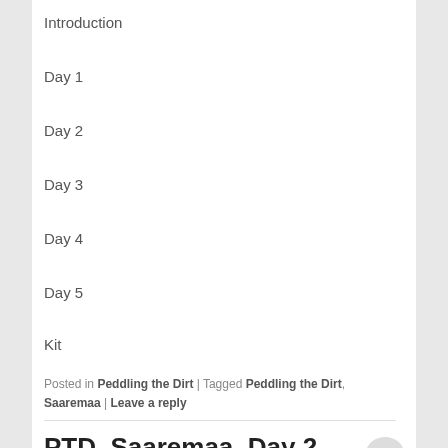Introduction
Day 1
Day 2
Day 3
Day 4
Day 5
Kit
Posted in Peddling the Dirt | Tagged Peddling the Dirt, Saaremaa | Leave a reply
PTD, Saaremaa, Day 2
Posted on October 8, 2012 by f32dream